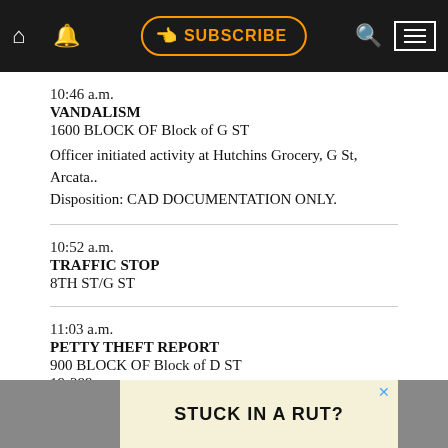SUBSCRIBE navigation bar
10:46 a.m.
VANDALISM
1600 BLOCK OF Block of G ST
Officer initiated activity at Hutchins Grocery, G St, Arcata.. Disposition: CAD DOCUMENTATION ONLY.
10:52 a.m.
TRAFFIC STOP
8TH ST/G ST
11:03 a.m.
PETTY THEFT REPORT
900 BLOCK OF Block of D ST
19-289
[Figure (screenshot): Advertisement banner at bottom: 'STUCK IN A RUT?' on cream background with close button]